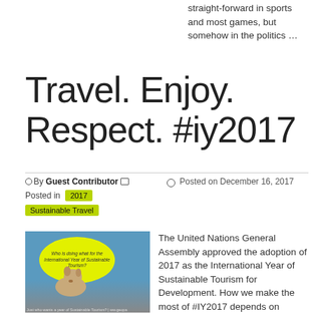straight-forward in sports and most games, but somehow in the politics ...
Travel. Enjoy. Respect. #iy2017
By Guest Contributor  Posted in 2017 Sustainable Travel  Posted on December 16, 2017
[Figure (photo): Dog looking up at a yellow speech bubble that says 'Who is doing what for the International Year of Sustainable Tourism?']
The United Nations General Assembly approved the adoption of 2017 as the International Year of Sustainable Tourism for Development. How we make the most of #IY2017 depends on